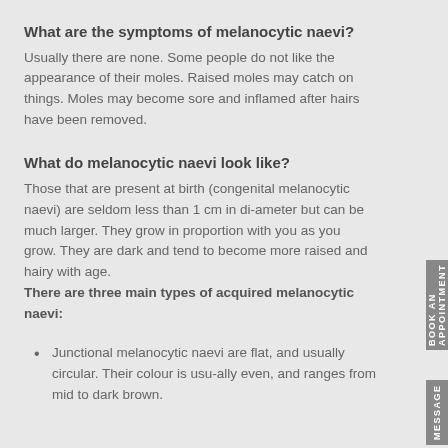What are the symptoms of melanocytic naevi?
Usually there are none. Some people do not like the appearance of their moles. Raised moles may catch on things. Moles may become sore and inflamed after hairs have been removed.
What do melanocytic naevi look like?
Those that are present at birth (congenital melanocytic naevi) are seldom less than 1 cm in di-ameter but can be much larger. They grow in proportion with you as you grow. They are dark and tend to become more raised and hairy with age.
There are three main types of acquired melanocytic naevi:
Junctional melanocytic naevi are flat, and usually circular. Their colour is usu-ally even, and ranges from mid to dark brown.